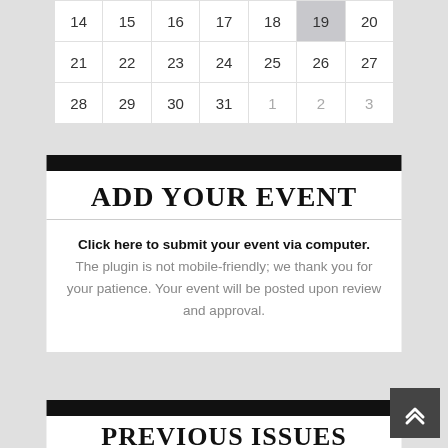| 14 | 15 | 16 | 17 | 18 | 19 | 20 |
| --- | --- | --- | --- | --- | --- | --- |
| 21 | 22 | 23 | 24 | 25 | 26 | 27 |
| 28 | 29 | 30 | 31 | 1 | 2 | 3 |
ADD YOUR EVENT
Click here to submit your event via computer. The plugin is not mobile-friendly; we thank you for your patience. Your event will be posted upon review and approval.
PREVIOUS ISSUES